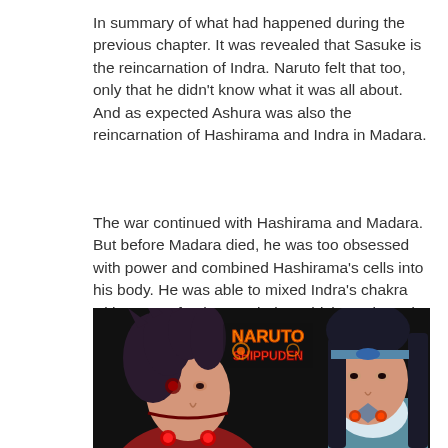In summary of what had happened during the previous chapter. It was revealed that Sasuke is the reincarnation of Indra. Naruto felt that too, only that he didn't know what it was all about. And as expected Ashura was also the reincarnation of Hashirama and Indra in Madara.
The war continued with Hashirama and Madara. But before Madara died, he was too obsessed with power and combined Hashirama's cells into his body. He was able to mixed Indra's chakra with a part of Ashura's chakra which awakened the SO6P's chakra thus awakening the Rinnegan.
[Figure (illustration): Anime illustration showing two characters from Naruto Shippuden facing each other: Madara (dark hair, red markings) on the left and Hashirama (long black hair, white clothing) on the right. The Naruto Shippuden logo appears in the center top of the image. The background is dark/black.]